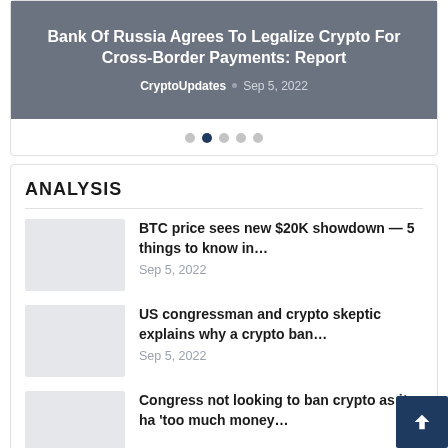Bank Of Russia Agrees To Legalize Crypto For Cross-Border Payments: Report
CryptoUpdates • Sep 5, 2022
[Figure (other): Carousel navigation dots, second dot active]
ANALYSIS
BTC price sees new $20K showdown — 5 things to know in…
Sep 5, 2022
US congressman and crypto skeptic explains why a crypto ban…
Sep 5, 2022
Congress not looking to ban crypto as it ha 'too much money…